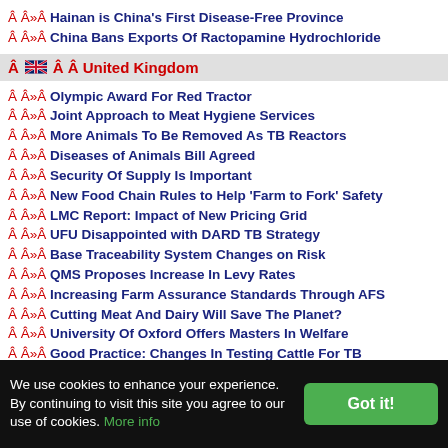Â Â»Â Hainan is China's First Disease-Free Province
Â Â»Â China Bans Exports Of Ractopamine Hydrochloride
Â 🇬🇧Â Â United Kingdom
Â Â»Â Olympic Award For Red Tractor
Â Â»Â Joint Approach to Meat Hygiene Services
Â Â»Â More Animals To Be Removed As TB Reactors
Â Â»Â Diseases of Animals Bill Agreed
Â Â»Â Security Of Supply Is Important
Â Â»Â New Food Chain Rules to Help 'Farm to Fork' Safety
Â Â»Â LMC Report: Impact of New Pricing Grid
Â Â»Â UFU Disappointed with DARD TB Strategy
Â Â»Â Base Traceability System Changes on Risk
Â Â»Â QMS Proposes Increase In Levy Rates
Â Â»Â Increasing Farm Assurance Standards Through AFS
Â Â»Â Cutting Meat And Dairy Will Save The Planet?
Â Â»Â University Of Oxford Offers Masters In Welfare
Â Â»Â Good Practice: Changes In Testing Cattle For TB
Â Â»Â Protect Our Clean Areas From Bovine TB
We use cookies to enhance your experience. By continuing to visit this site you agree to our use of cookies. More info